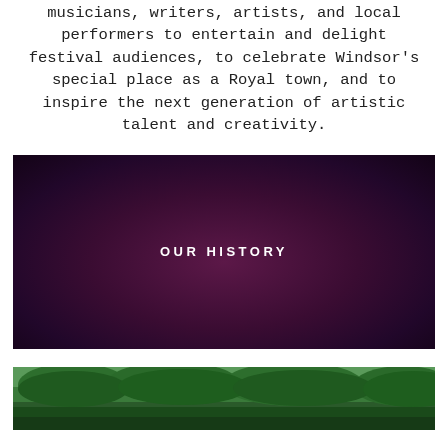musicians, writers, artists, and local performers to entertain and delight festival audiences, to celebrate Windsor's special place as a Royal town, and to inspire the next generation of artistic talent and creativity.
[Figure (other): Dark purple/maroon banner image with centered white bold uppercase text reading 'OUR HISTORY']
[Figure (photo): Partial photograph showing green trees and grass at the bottom of the page]